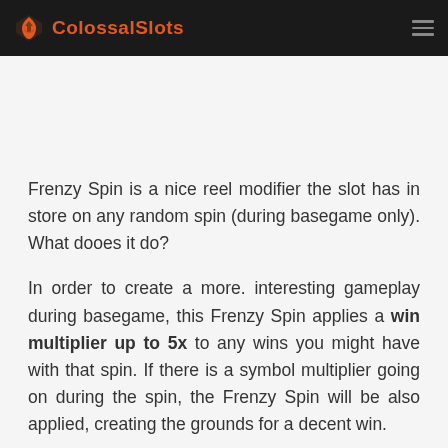ColossalSlots
Frenzy Spin is a nice reel modifier the slot has in store on any random spin (during basegame only). What dooes it do?
In order to create a more. interesting gameplay during basegame, this Frenzy Spin applies a win multiplier up to 5x to any wins you might have with that spin. If there is a symbol multiplier going on during the spin, the Frenzy Spin will be also applied, creating the grounds for a decent win.